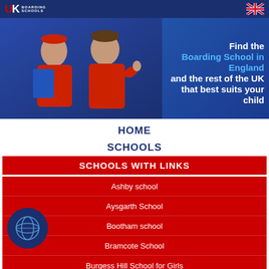UK BOARDING SCHOOLS
[Figure (photo): Banner image with two children in red shirts, a girl holding a blue folder and a boy giving thumbs up, against a blue gradient background. Text overlay: Find the Boarding School in England and the rest of the UK that best suits your child]
HOME
SCHOOLS
SCHOOLS WITH LINKS
Ashby school
Aysgarth School
Bootham school
Bramcote School
Burgess Hill School for Girls